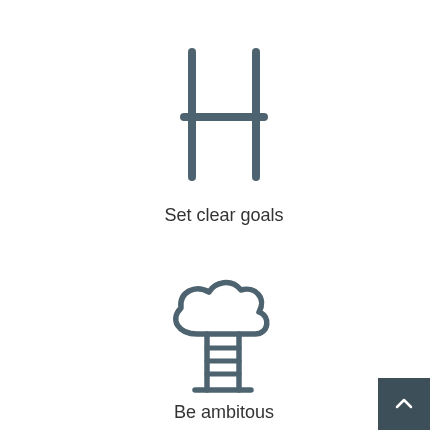[Figure (illustration): Icon of a rugby/football goal post (H-shape) representing setting clear goals]
Set clear goals
[Figure (illustration): Icon of a ladder leaning against a cloud, representing ambition]
Be ambitous